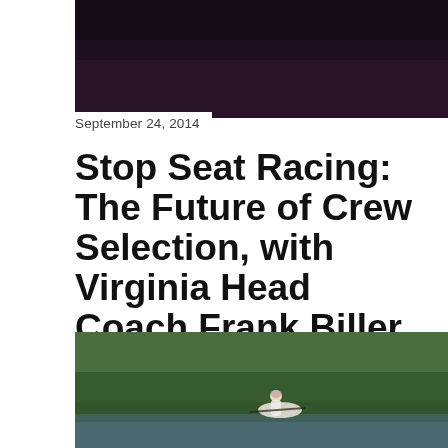[Figure (photo): Dark moody photo, appears to be water or sky scene, used as top banner image]
September 24, 2014
Stop Seat Racing: The Future of Crew Selection, with Virginia Head Coach Frank Biller
Share
[Figure (photo): Photo of a female rower in a single scull on water, with green trees in background]